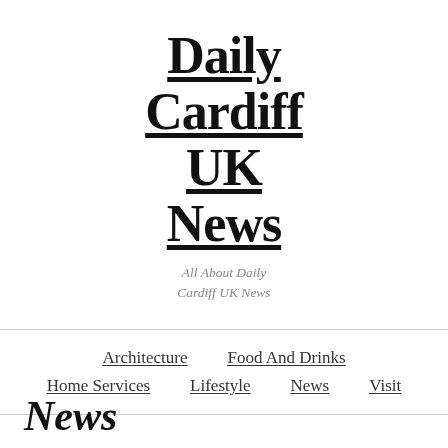[Figure (logo): Daily Cardiff UK News logo with large bold serif underlined text stacked on multiple lines]
All About Daily Cardiff UK News
Architecture  Food And Drinks  Home Services  Lifestyle  News  Visit
News